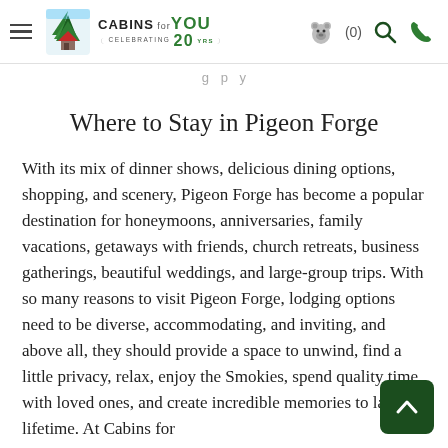Cabins for YOU – Celebrating 20 Years – Navigation header with bear icon, search, and phone icons
g p y
Where to Stay in Pigeon Forge
With its mix of dinner shows, delicious dining options, shopping, and scenery, Pigeon Forge has become a popular destination for honeymoons, anniversaries, family vacations, getaways with friends, church retreats, business gatherings, beautiful weddings, and large-group trips. With so many reasons to visit Pigeon Forge, lodging options need to be diverse, accommodating, and inviting, and above all, they should provide a space to unwind, find a little privacy, relax, enjoy the Smokies, spend quality time with loved ones, and create incredible memories to last a lifetime. At Cabins for